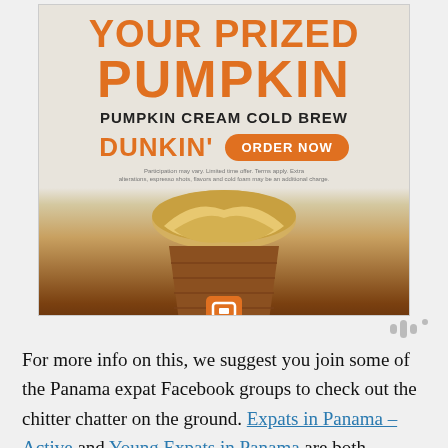[Figure (illustration): Dunkin' advertisement for Pumpkin Cream Cold Brew. Orange bold text reads 'YOUR PRIZED PUMPKIN', followed by 'PUMPKIN CREAM COLD BREW' in black, then the Dunkin' logo in orange and an 'ORDER NOW' button in an orange pill shape. Below is a photo of a cold brew coffee drink with pumpkin cream cold foam on top. Fine print disclaimer text appears below the logo/button area.]
For more info on this, we suggest you join some of the Panama expat Facebook groups to check out the chitter chatter on the ground. Expats in Panama – Active and Young Expats in Panama are both discussing this at